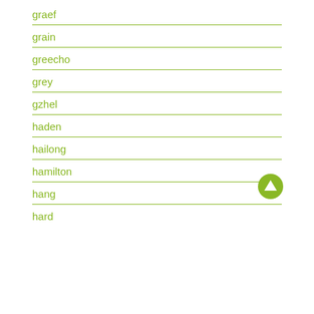graef
grain
greecho
grey
gzhel
haden
hailong
hamilton
hang
hard